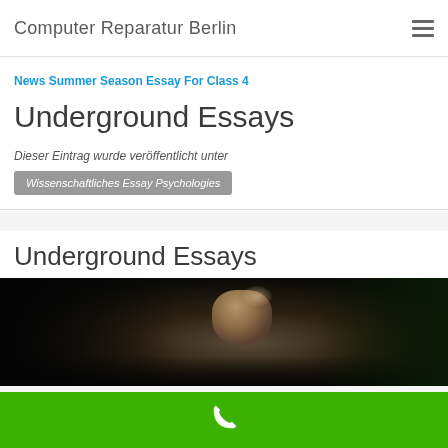Computer Reparatur Berlin
News Summer Season Essay For Class 4
Underground Essays
Dieser Eintrag wurde veröffentlicht unter  Wissenschaftliches Essay Psychologies
Underground Essays
[Figure (photo): Dark close-up photo of a bald man's face with light reflecting off his head, against a dark background]
Phone contact bar with phone icon